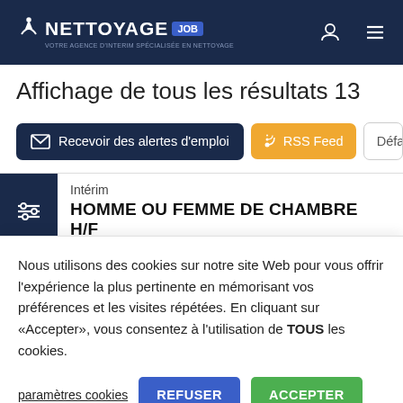NETTOYAGE JOB
Affichage de tous les résultats 13
Recevoir des alertes d'emploi
RSS Feed
Défaut
Intérim
HOMME OU FEMME DE CHAMBRE H/F
Nous utilisons des cookies sur notre site Web pour vous offrir l'expérience la plus pertinente en mémorisant vos préférences et les visites répétées. En cliquant sur «Accepter», vous consentez à l'utilisation de TOUS les cookies.
paramètres cookies
REFUSER
ACCEPTER